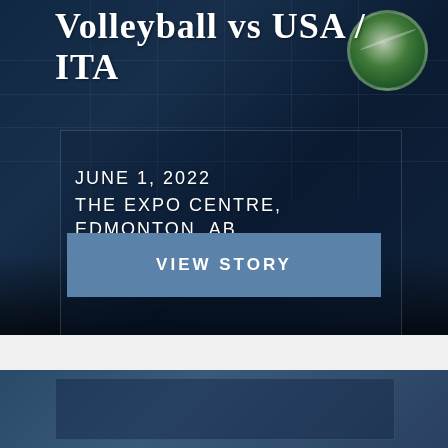[Figure (photo): Dark blue-toned sports promotional card showing volleyball players in action at the net, with a volleyball visible in the upper right. The card has a dark overlay with text and a button.]
Volleyball vs USA / ITA
JUNE 1, 2022
THE EXPO CENTRE,
EDMONTON, AB
VIEW STORY
[Figure (photo): Partial view of a second sports card at the bottom of the page, showing a blue-toned background with the beginning of another promotional card.]